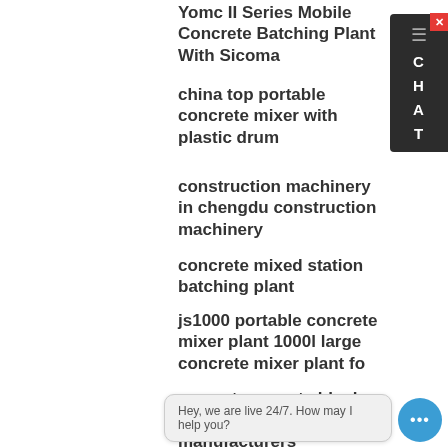Yomc II Series Mobile Concrete Batching Plant With Sicoma
china top portable concrete mixer with plastic drum
construction machinery in chengdu construction machinery
concrete mixed station batching plant
js1000 portable concrete mixer plant 1000l large concrete mixer plant fo
cement concrete block plant for sale manufacturers
single mini concrete mixer for sale
Baker Precast Concrete Specialties Inc Sebring FL
Use of ladle furnace slag as filler in hot asphalt
How to extend service life of a portable concrete mixer